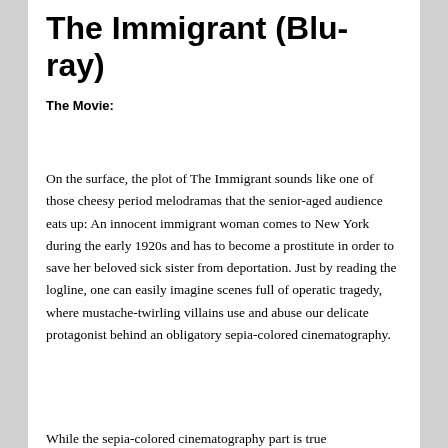The Immigrant (Blu-ray)
The Movie:
On the surface, the plot of The Immigrant sounds like one of those cheesy period melodramas that the senior-aged audience eats up: An innocent immigrant woman comes to New York during the early 1920s and has to become a prostitute in order to save her beloved sick sister from deportation. Just by reading the logline, one can easily imagine scenes full of operatic tragedy, where mustache-twirling villains use and abuse our delicate protagonist behind an obligatory sepia-colored cinematography.
While the sepia-colored cinematography part is true